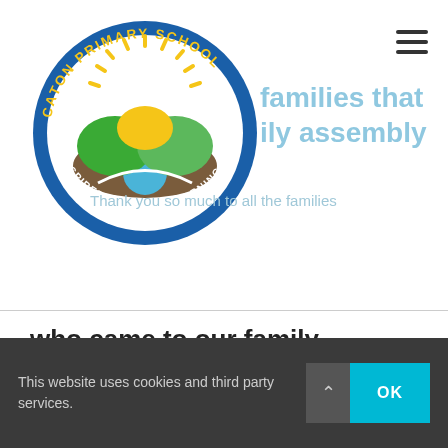[Figure (logo): Caton Primary School circular logo — blue border with text 'CATON PRIMARY SCHOOL' and 'INSPIRED THROUGH LEARNING', featuring stylized hills (green and yellow) with brown path and blue circle in the center]
families that family assembly
Thank you so much to all the families
who came to our family assembly this morning. It was so good to hear everyone laughing so loudly and joining
This website uses cookies and third party services.